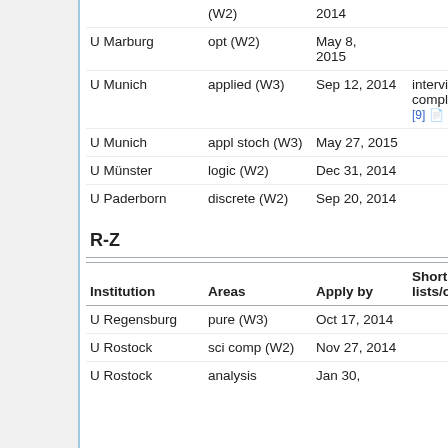| Institution | Areas | Apply by | Short lists/offers |
| --- | --- | --- | --- |
|  | (W2) | 2014 |  |
| U Marburg | opt (W2) | May 8, 2015 |  |
| U Munich | applied (W3) | Sep 12, 2014 | interviews completed [9] |
| U Munich | appl stoch (W3) | May 27, 2015 |  |
| U Münster | logic (W2) | Dec 31, 2014 |  |
| U Paderborn | discrete (W2) | Sep 20, 2014 |  |
R-Z
| Institution | Areas | Apply by | Short lists/offers |
| --- | --- | --- | --- |
| U Regensburg | pure (W3) | Oct 17, 2014 |  |
| U Rostock | sci comp (W2) | Nov 27, 2014 |  |
| U Rostock | analysis | Jan 30, |  |